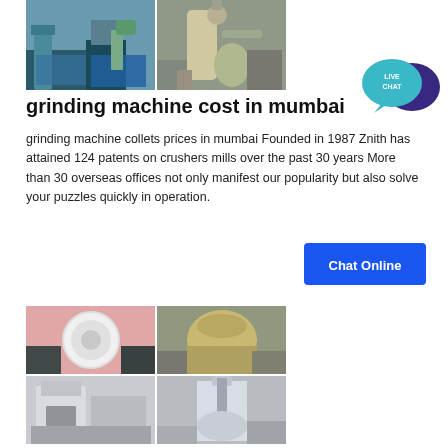[Figure (photo): Two industrial grinding machine facility photos side by side showing dust collection equipment and mill installations]
[Figure (illustration): Live Chat speech bubble icon with teal and dark purple colors]
grinding machine cost in mumbai
grinding machine collets prices in mumbai Founded in 1987 Znith has attained 124 patents on crushers mills over the past 30 years More than 30 overseas offices not only manifest our popularity but also solve your puzzles quickly in operation.
[Figure (illustration): Chat Online button - blue rectangular button]
[Figure (photo): Four photos of grinding mill machines and industrial equipment arranged in a 2x2 grid]